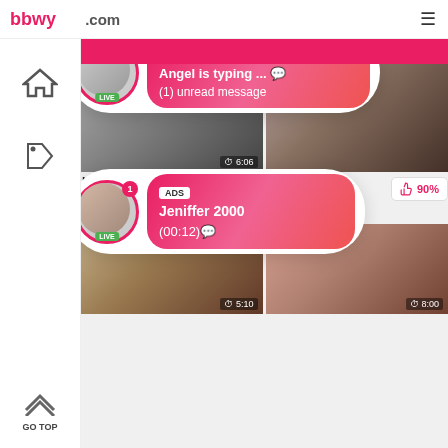bbwy[...].com
[Figure (screenshot): Two ad popup overlays showing LIVE chat notifications. First popup: ADS label, 'Angel is typing ... 💬', '(1) unread message'. Second popup: ADS label, 'Jeniffer 2000', '(00:12)💬'. Each has a circular avatar with LIVE badge and notification dot.]
Horny Milfs Hairy Pussy
82%
563 views
Petite Sexy Teen Jessae
90%
648 views
5:10
8:00
6:06
GO TOP